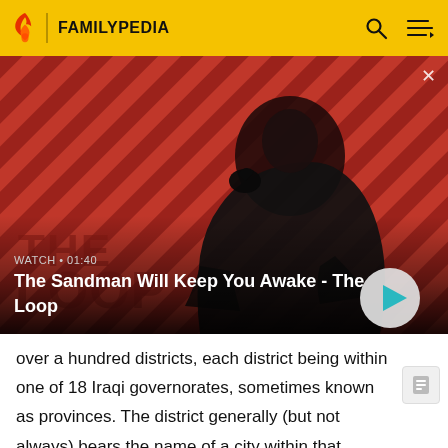FAMILYPEDIA
[Figure (screenshot): Video thumbnail showing a man in dark clothing with a bird on his shoulder against a red diagonal striped background. Title: The Sandman Will Keep You Awake - The Loop. Duration: 01:40. Play button visible.]
WATCH • 01:40
The Sandman Will Keep You Awake - The Loop
over a hundred districts, each district being within one of 18 Iraqi governorates, sometimes known as provinces. The district generally (but not always) bears the name of a city within that district, usually the capital of that district.